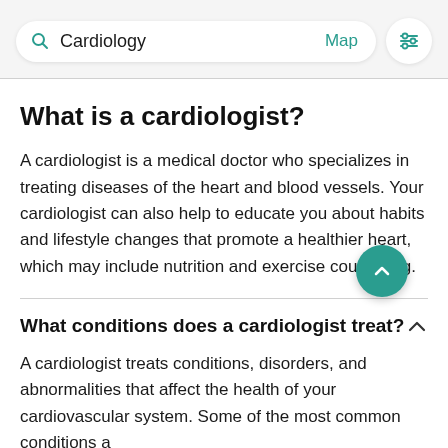[Figure (screenshot): Search bar UI with search icon, 'Cardiology' text, 'Map' link in teal, and a filter icon button on the right]
What is a cardiologist?
A cardiologist is a medical doctor who specializes in treating diseases of the heart and blood vessels. Your cardiologist can also help to educate you about habits and lifestyle changes that promote a healthier heart, which may include nutrition and exercise counseling.
What conditions does a cardiologist treat?
A cardiologist treats conditions, disorders, and abnormalities that affect the health of your cardiovascular system. Some of the most common conditions a